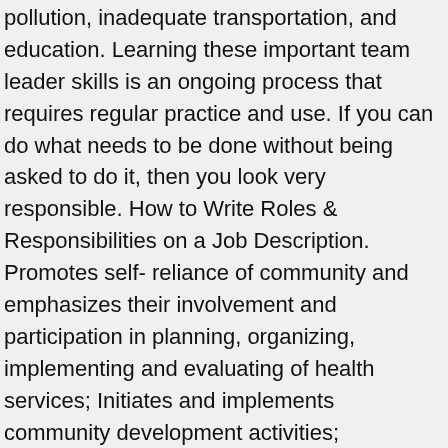pollution, inadequate transportation, and education. Learning these important team leader skills is an ongoing process that requires regular practice and use. If you can do what needs to be done without being asked to do it, then you look very responsible. How to Write Roles & Responsibilities on a Job Description. Promotes self- reliance of community and emphasizes their involvement and participation in planning, organizing, implementing and evaluating of health services; Initiates and implements community development activities; Coordinator of services So now we have a preliminary job description for a community leader. 1: Community Health Workers. Clinician Role or Direct care provider: The clinician role in the community health nurse means, the nurse ensures health care services, not just to individuals and families but also to groups and population of the community. Respect the rights, beliefs, and opinions of others. It is created to make employees, and employers, feel more connected with society. Care Coordinator/Manager Model. Howevâ… Responsibilities of a team leader include decision-making,